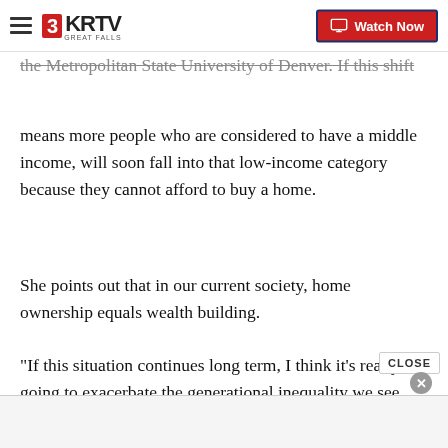3KRTV Great Falls — Watch Now
the Metropolitan State University of Denver. If this shift means more people who are considered to have a middle income, will soon fall into that low-income category because they cannot afford to buy a home.
She points out that in our current society, home ownership equals wealth building.
"If this situation continues long term, I think it's really going to exacerbate the generational inequality we see already," Huber said.